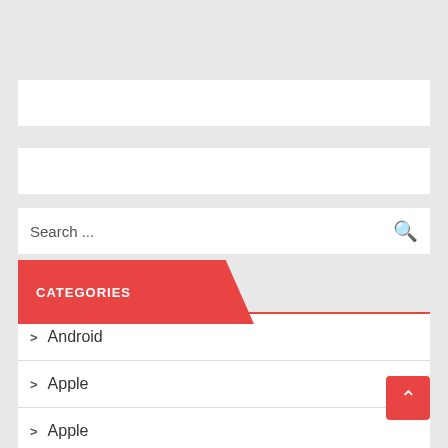[Figure (screenshot): Search bar with placeholder text 'Search ...' and a search icon on the right]
CATEGORIES
> Android
> Apple
> Apple
> BlackBerry